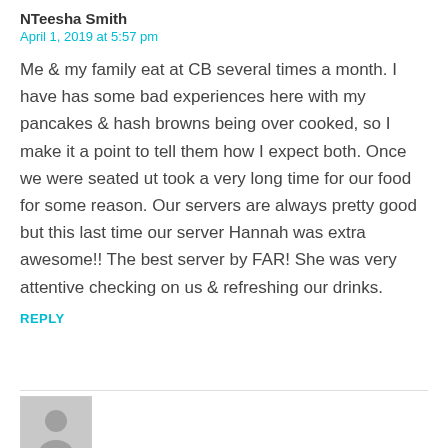NTeesha Smith
April 1, 2019 at 5:57 pm
Me & my family eat at CB several times a month. I have has some bad experiences here with my pancakes & hash browns being over cooked, so I make it a point to tell them how I expect both. Once we were seated ut took a very long time for our food for some reason. Our servers are always pretty good but this last time our server Hannah was extra awesome!! The best server by FAR! She was very attentive checking on us & refreshing our drinks.
REPLY
[Figure (photo): Generic user avatar placeholder image showing a silhouette of a person on a gray background]